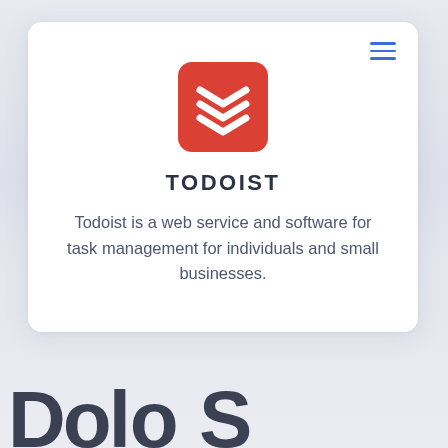[Figure (logo): Todoist app logo: red rounded square with three white chevron/check marks stacked]
TODOIST
Todoist is a web service and software for task management for individuals and small businesses.
Do lo S  (partially visible, cut off at bottom)